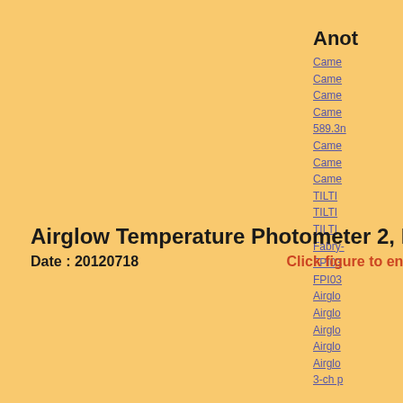Anot
Came
Came
Came
Came 589.3n
Came
Came
Came
TILTI
TILTI
TILTI
Fabry-
FPI03
FPI03
Airglo
Airglo
Airglo
Airglo
Airglo
3-ch p
Airglow Temperature Photometer 2, Intensity
Date : 20120718    Click figure to enlarge